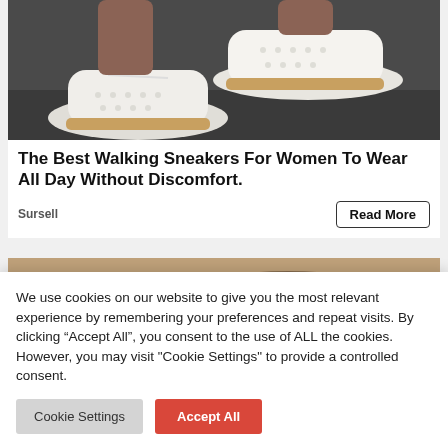[Figure (photo): Close-up photo of white perforated sneakers with tan/brown soles worn by a person, on a dark background]
The Best Walking Sneakers For Women To Wear All Day Without Discomfort.
Sursell
[Figure (photo): Partial photo of dark brown sandals on a sandy/stone surface]
We use cookies on our website to give you the most relevant experience by remembering your preferences and repeat visits. By clicking “Accept All”, you consent to the use of ALL the cookies. However, you may visit "Cookie Settings" to provide a controlled consent.
Cookie Settings
Accept All